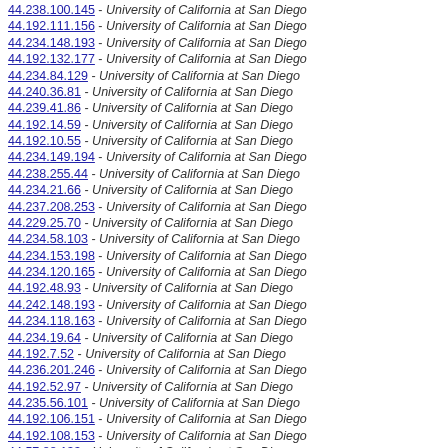44.238.100.145 - University of California at San Diego
44.192.111.156 - University of California at San Diego
44.234.148.193 - University of California at San Diego
44.192.132.177 - University of California at San Diego
44.234.84.129 - University of California at San Diego
44.240.36.81 - University of California at San Diego
44.239.41.86 - University of California at San Diego
44.192.14.59 - University of California at San Diego
44.192.10.55 - University of California at San Diego
44.234.149.194 - University of California at San Diego
44.238.255.44 - University of California at San Diego
44.234.21.66 - University of California at San Diego
44.237.208.253 - University of California at San Diego
44.229.25.70 - University of California at San Diego
44.234.58.103 - University of California at San Diego
44.234.153.198 - University of California at San Diego
44.234.120.165 - University of California at San Diego
44.192.48.93 - University of California at San Diego
44.242.148.193 - University of California at San Diego
44.234.118.163 - University of California at San Diego
44.234.19.64 - University of California at San Diego
44.192.7.52 - University of California at San Diego
44.236.201.246 - University of California at San Diego
44.192.52.97 - University of California at San Diego
44.235.56.101 - University of California at San Diego
44.192.106.151 - University of California at San Diego
44.192.108.153 - University of California at San Diego
44.57.88.133 - University of California at San Diego
44.238.74.119 - University of California at San Diego
44.241.61.106 - University of California at San Diego